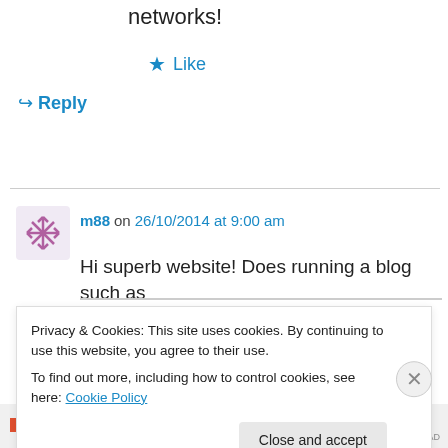networks!
★ Like
↳ Reply
m88 on 26/10/2014 at 9:00 am
Hi superb website! Does running a blog such as this require a large amount of work?
Privacy & Cookies: This site uses cookies. By continuing to use this website, you agree to their use.
To find out more, including how to control cookies, see here: Cookie Policy
Close and accept